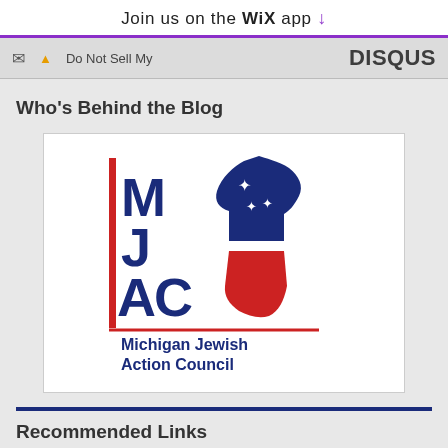Join us on the WiX app ↓
✉  ▲ Do Not Sell My   DISQUS
Who's Behind the Blog
[Figure (logo): Michigan Jewish Action Council (MJAC) logo: red vertical bar on left, large dark blue letters M J A C stacked, Michigan state outline filled with blue stars on top and red below, text 'Michigan Jewish Action Council' below]
Recommended Links